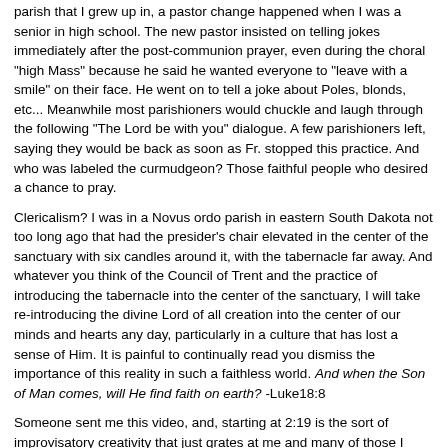parish that I grew up in, a pastor change happened when I was a senior in high school. The new pastor insisted on telling jokes immediately after the post-communion prayer, even during the choral "high Mass" because he said he wanted everyone to "leave with a smile" on their face. He went on to tell a joke about Poles, blonds, etc... Meanwhile most parishioners would chuckle and laugh through the following "The Lord be with you" dialogue. A few parishioners left, saying they would be back as soon as Fr. stopped this practice. And who was labeled the curmudgeon? Those faithful people who desired a chance to pray.
Clericalism? I was in a Novus ordo parish in eastern South Dakota not too long ago that had the presider's chair elevated in the center of the sanctuary with six candles around it, with the tabernacle far away. And whatever you think of the Council of Trent and the practice of introducing the tabernacle into the center of the sanctuary, I will take re-introducing the divine Lord of all creation into the center of our minds and hearts any day, particularly in a culture that has lost a sense of Him. It is painful to continually read you dismiss the importance of this reality in such a faithless world. And when the Son of Man comes, will He find faith on earth? -Luke18:8
Someone sent me this video, and, starting at 2:19 is the sort of improvisatory creativity that just grates at me and many of those I know. If I had to go through stuff like this every weekend I probably couldn't keep the faith. https://m.youtube.com/watch?v=s4wh8Kb97N4